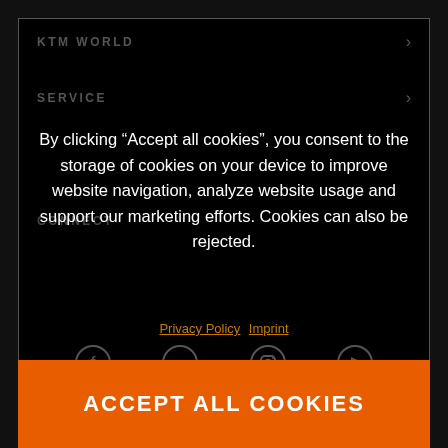KTM WORLD
SERVICE
By clicking “Accept all cookies”, you consent to the storage of cookies on your device to improve website navigation, analyze website usage and support our marketing efforts. Cookies can also be rejected.
Privacy Policy  Imprint
[Figure (infographic): Social media icons row: Facebook, Twitter, Instagram, YouTube]
CONNECT
REJECT ALL
ACCEPT ALL COOKIES